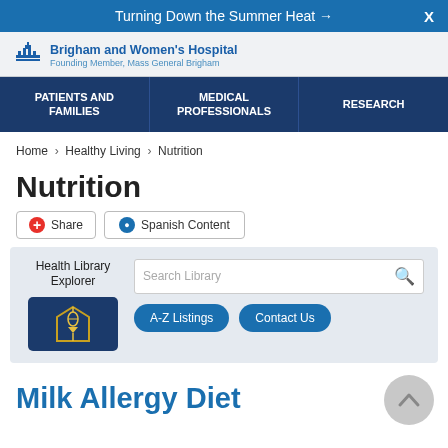Turning Down the Summer Heat →
[Figure (logo): Brigham and Women's Hospital logo with text: Brigham and Women's Hospital, Founding Member, Mass General Brigham]
PATIENTS AND FAMILIES | MEDICAL PROFESSIONALS | RESEARCH
Home › Healthy Living › Nutrition
Nutrition
Share  Spanish Content
Health Library Explorer  Search Library  A-Z Listings  Contact Us
Milk Allergy Diet